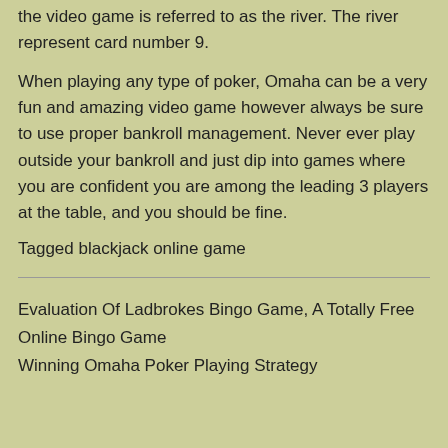the video game is referred to as the river. The river represent card number 9.
When playing any type of poker, Omaha can be a very fun and amazing video game however always be sure to use proper bankroll management. Never ever play outside your bankroll and just dip into games where you are confident you are among the leading 3 players at the table, and you should be fine.
Tagged blackjack online game
Evaluation Of Ladbrokes Bingo Game, A Totally Free Online Bingo Game
Winning Omaha Poker Playing Strategy